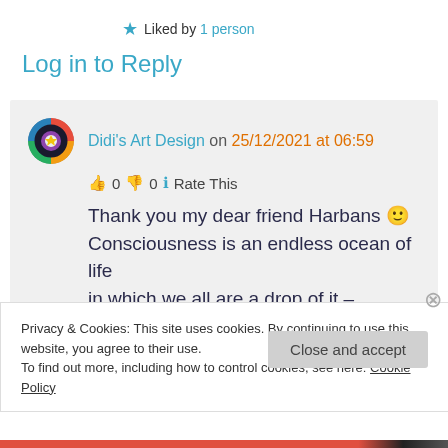★ Liked by 1 person
Log in to Reply
Didi's Art Design on 25/12/2021 at 06:59
👍 0 👎 0 ℹ Rate This
Thank you my dear friend Harbans 🙂 Consciousness is an endless ocean of life in which we all are a drop of it – learning
Privacy & Cookies: This site uses cookies. By continuing to use this website, you agree to their use. To find out more, including how to control cookies, see here: Cookie Policy
Close and accept